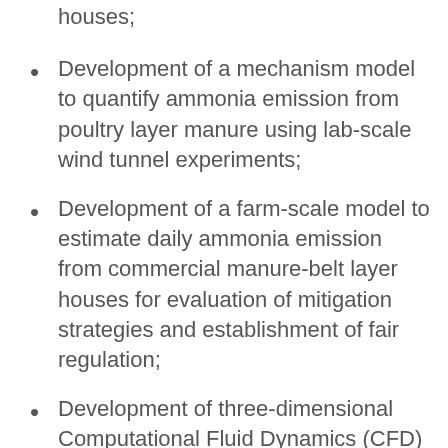houses;
Development of a mechanism model to quantify ammonia emission from poultry layer manure using lab-scale wind tunnel experiments;
Development of a farm-scale model to estimate daily ammonia emission from commercial manure-belt layer houses for evaluation of mitigation strategies and establishment of fair regulation;
Development of three-dimensional Computational Fluid Dynamics (CFD) models to assess NH₃
distribution inside manure-belt layer